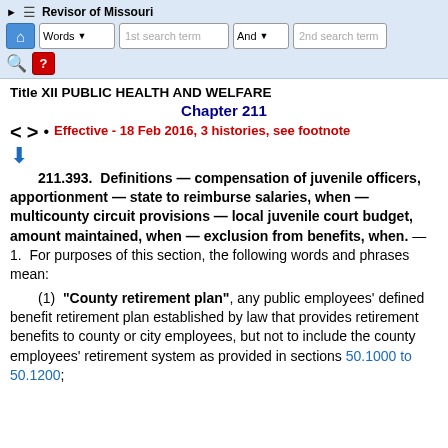Revisor of Missouri — navigation bar with Words search, And connector, search terms
Title XII PUBLIC HEALTH AND WELFARE
Chapter 211
Effective - 18 Feb 2016, 3 histories, see footnote
211.393.  Definitions — compensation of juvenile officers, apportionment — state to reimburse salaries, when — multicounty circuit provisions — local juvenile court budget, amount maintained, when — exclusion from benefits, when. — 1.  For purposes of this section, the following words and phrases mean:
(1)  "County retirement plan", any public employees' defined benefit retirement plan established by law that provides retirement benefits to county or city employees, but not to include the county employees' retirement system as provided in sections 50.1000 to 50.1200;